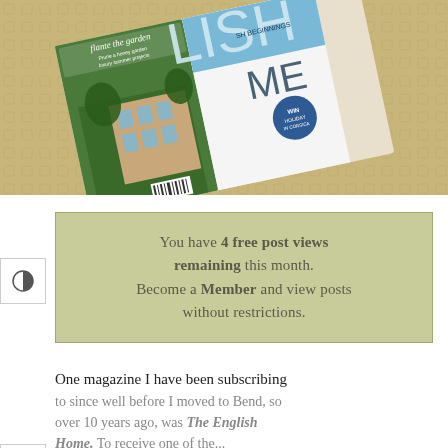[Figure (photo): A magazine featuring 'The English Home' with a country house on the cover, lying on a textured yellow/gold surface. The magazine cover text includes 'lavish beginnings' and features a stone English country house with trees.]
You have 4 free post views remaining this month. Become a Member and view posts without restrictions.
One magazine I have been subscribing to since well before I moved to Bend, so over 10 years ago, was The English Home. To receive one of the...